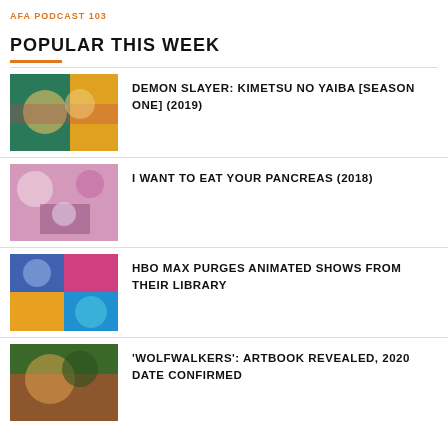AFA PODCAST 103
POPULAR THIS WEEK
DEMON SLAYER: KIMETSU NO YAIBA [SEASON ONE] (2019)
I WANT TO EAT YOUR PANCREAS (2018)
HBO MAX PURGES ANIMATED SHOWS FROM THEIR LIBRARY
'WOLFWALKERS': ARTBOOK REVEALED, 2020 DATE CONFIRMED